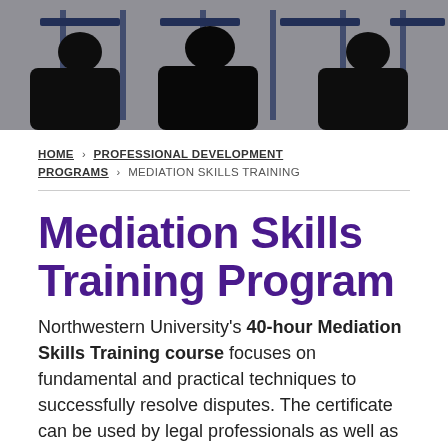[Figure (photo): Silhouettes of people in a meeting room with chairs visible in background, dark toned image]
HOME > PROFESSIONAL DEVELOPMENT PROGRAMS > MEDIATION SKILLS TRAINING
Mediation Skills Training Program
Northwestern University's 40-hour Mediation Skills Training course focuses on fundamental and practical techniques to successfully resolve disputes. The certificate can be used by legal professionals as well as career changers